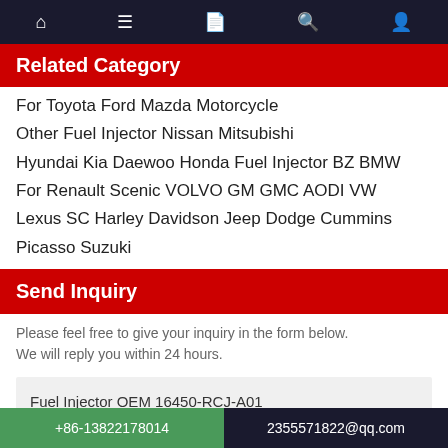Navigation bar with home, menu, document, search, profile icons
Related Category
For Toyota Ford Mazda Motorcycle
Other Fuel Injector Nissan Mitsubishi
Hyundai Kia Daewoo Honda Fuel Injector BZ BMW
For Renault Scenic VOLVO GM GMC AODI VW
Lexus SC Harley Davidson Jeep Dodge Cummins
Picasso Suzuki
Send Inquiry
Please feel free to give your inquiry in the form below. We will reply you within 24 hours.
Fuel Injector OEM 16450-RCJ-A01
+86-13822178014  2355571822@qq.com